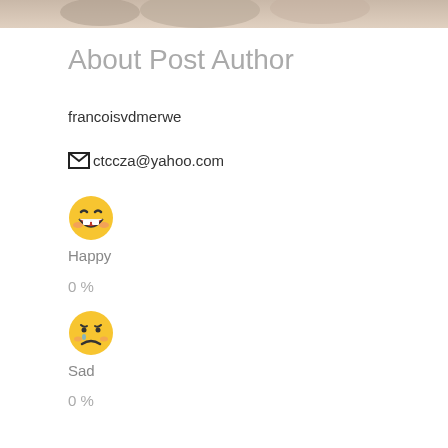[Figure (photo): Partial photo strip at the top of the page showing people in the background]
About Post Author
francoisvdmerwe
✉ ctccza@yahoo.com
[Figure (illustration): Happy laughing emoji with tears of joy]
Happy
0 %
[Figure (illustration): Sad crying emoji]
Sad
0 %